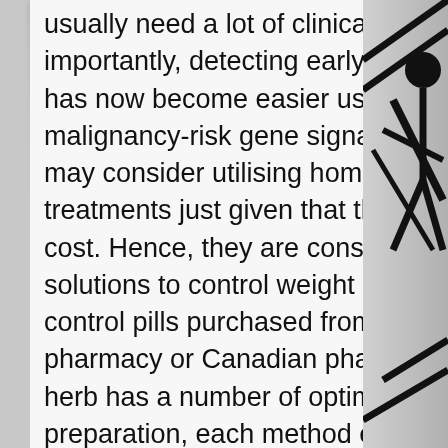usually need a lot of clinical work. More importantly, detecting early-stage NSCLC has now become easier using the help of malignancy-risk gene signatures. People may consider utilising homeopathic treatments just given that they're quite low-cost. Hence, they are constantly seeking solutions to control weight gain from birth control pills purchased from any discount pharmacy or Canadian pharmacy. Each herb has a number of optimum ways of preparation, each method extracting different properties through the herb. They are managing the resources efficiently in the organizations like hospital or clinics also evaluate medicines and be sure that they are safe to use. Most physiologists required a Ph - D degree and licensing. Any reputable online business puts their shopping cart solution on a secure server. Strong customer care skills can be a must when handling the hectic pace of your pharmacy or pharmaceutical department. People should be aware of its benefits as well as the one thing